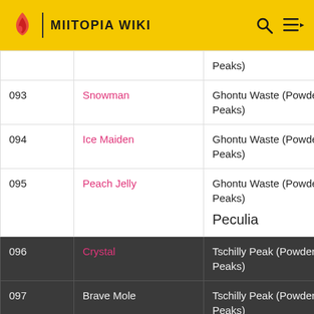MIITOPIA WIKI
| # | Name | Location |
| --- | --- | --- |
|  |  | Peaks) |
| 093 | Snowman | Ghontu Waste (Powdered Peaks) |
| 094 | Ice Maiden | Ghontu Waste (Powdered Peaks) |
| 095 | Peach Jelly | Ghontu Waste (Powdered Peaks)
Peculia |
| 096 | Crystal | Tschilly Peak (Powdered Peaks) |
| 097 | Brave Mole | Tschilly Peak (Powdered Peaks) |
| 098 | Snow Griffin | Tschilly Peak (Powdered Peaks) |